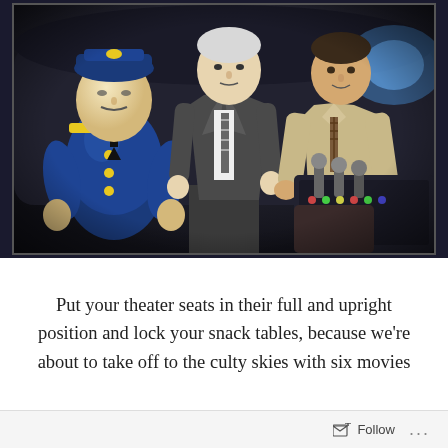[Figure (photo): A scene from the movie Airplane! showing an inflatable autopilot doll dressed as a pilot in a blue uniform on the left, a tall man in a grey suit with striped tie in the center, and a man in a beige shirt with a plaid tie on the right, all in an airplane cockpit setting.]
Put your theater seats in their full and upright position and lock your snack tables, because we're about to take off to the culty skies with six movies
Follow ...